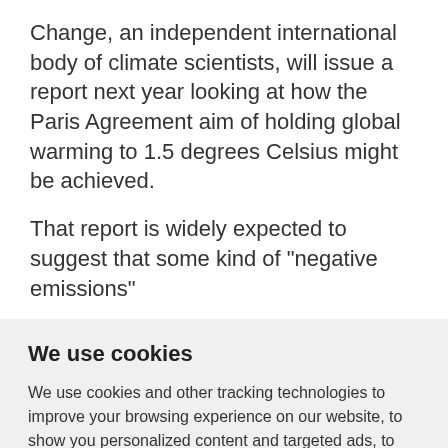Change, an independent international body of climate scientists, will issue a report next year looking at how the Paris Agreement aim of holding global warming to 1.5 degrees Celsius might be achieved.
That report is widely expected to suggest that some kind of "negative emissions"
We use cookies
We use cookies and other tracking technologies to improve your browsing experience on our website, to show you personalized content and targeted ads, to analyze our website traffic, and to understand where our visitors are coming from.